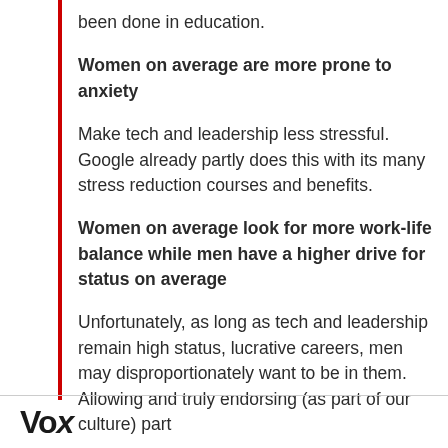been done in education.
Women on average are more prone to anxiety
Make tech and leadership less stressful. Google already partly does this with its many stress reduction courses and benefits.
Women on average look for more work-life balance while men have a higher drive for status on average
Unfortunately, as long as tech and leadership remain high status, lucrative careers, men may disproportionately want to be in them. Allowing and truly endorsing (as part of our culture) part
Vox